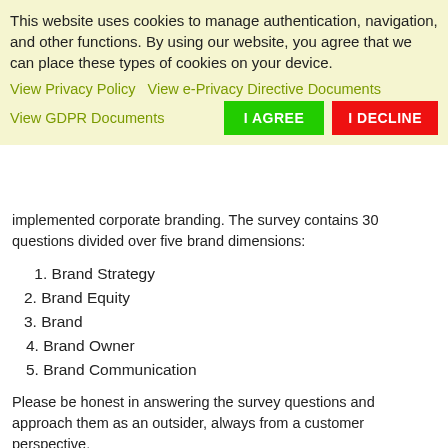This website uses cookies to manage authentication, navigation, and other functions. By using our website, you agree that we can place these types of cookies on your device.
View Privacy Policy   View e-Privacy Directive Documents
View GDPR Documents   [I AGREE]  [I DECLINE]
implemented corporate branding. The survey contains 30 questions divided over five brand dimensions:
1. Brand Strategy
2. Brand Equity
3. Brand
4. Brand Owner
5. Brand Communication
Please be honest in answering the survey questions and approach them as an outsider, always from a customer perspective.
You can download my excel brand integration work document (survey & model) here.